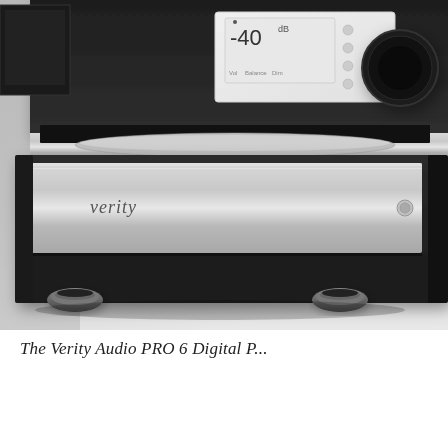[Figure (photo): Close-up photograph of stacked high-end audio equipment. The bottom unit is a silver/aluminum amplifier or DAC with 'verity' branding on the front panel and a small circular button on the right side. It sits on black feet/isolators. Above it is a darker unit with a silver trim layer visible, and on top is a black component with a white display panel showing '-40' and circular control knobs. The equipment is photographed against a light grey/white background.]
The Verity Audio PRO 6 Digital P...